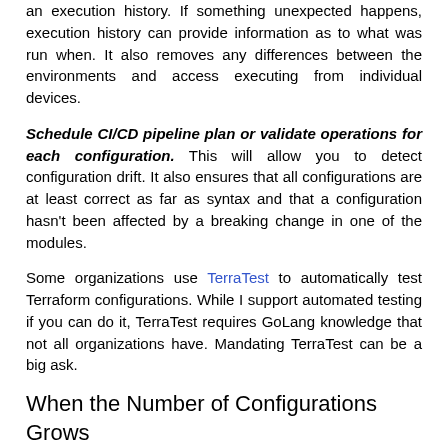an execution history. If something unexpected happens, execution history can provide information as to what was run when. It also removes any differences between the environments and access executing from individual devices.
Schedule CI/CD pipeline plan or validate operations for each configuration. This will allow you to detect configuration drift. It also ensures that all configurations are at least correct as far as syntax and that a configuration hasn't been affected by a breaking change in one of the modules.
Some organizations use TerraTest to automatically test Terraform configurations. While I support automated testing if you can do it, TerraTest requires GoLang knowledge that not all organizations have. Mandating TerraTest can be a big ask.
When the Number of Configurations Grows
As the number of Terraform configurations grows, typically the blast radius for changes to modules also grows. The reason is that module usage also grows. With a small